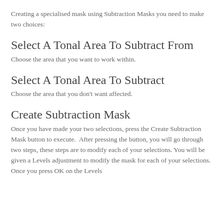Creating a specialised mask using Subtraction Masks you need to make two choices:
Select A Tonal Area To Subtract From
Choose the area that you want to work within.
Select A Tonal Area To Subtract
Choose the area that you don’t want affected.
Create Subtraction Mask
Once you have made your two selections, press the Create Subtraction Mask button to execute.  After pressing the button, you will go through two steps, these steps are to modify each of your selections. You will be given a Levels adjustment to modify the mask for each of your selections. Once you press OK on the Levels